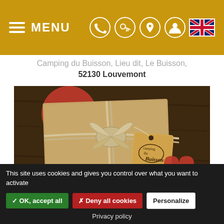MENU — navigation icons and UK flag
Camping du Buisson, Lieu dit, Le Buisson, 52130 Louvemont
[Figure (photo): A kraft-paper wrapped gift box tied with twine, with a branded tag reading 'Camping du Buisson' and red heart decorations on a dark wood background.]
This site uses cookies and gives you control over what you want to activate
✓ OK, accept all | ✗ Deny all cookies | Personalize
Privacy policy